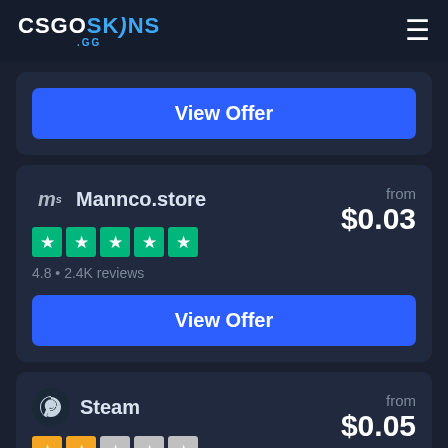CSGOSKINS.GG
[Figure (other): Blue View Offer button on a dark card (partially visible card at top)]
Mannco.store
4.8 • 2.4K reviews
from $0.03
[Figure (other): Blue View Offer button for Mannco.store]
Steam
1.8 • 1.9K reviews
from $0.05